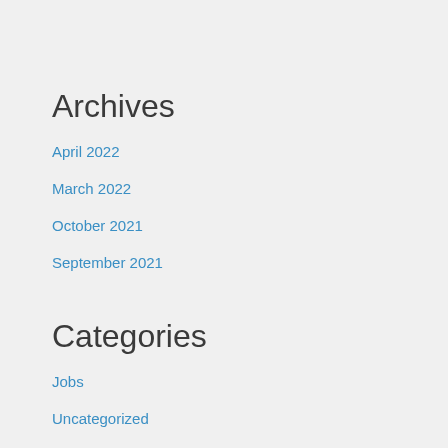Archives
April 2022
March 2022
October 2021
September 2021
Categories
Jobs
Uncategorized